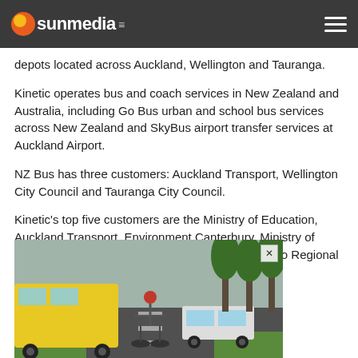sunmedia
depots located across Auckland, Wellington and Tauranga.
Kinetic operates bus and coach services in New Zealand and Australia, including Go Bus urban and school bus services across New Zealand and SkyBus airport transfer services at Auckland Airport.
NZ Bus has three customers: Auckland Transport, Wellington City Council and Tauranga City Council.
Kinetic's top five customers are the Ministry of Education, Auckland Transport, Environment Canterbury, Ministry of Business, Innovation and Employment and Waikato Regional Council.
[Figure (photo): A cyclist riding on a road with a yellow school bus and a white car in the background, lined with trees. An advertisement image with a close button (X) in the top right corner.]